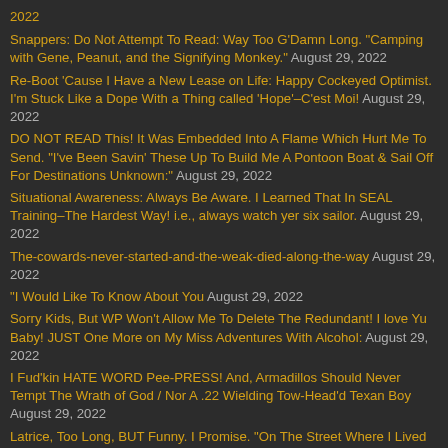2022
Snappers: Do Not Attempt To Read: Way Too G'Damn Long. "Camping with Gene, Peanut, and the Signifying Monkey." August 29, 2022
Re-Boot 'Cause I Have a New Lease on Life: Happy Cockeyed Optimist. I'm Stuck Like a Dope With a Thing called 'Hope'–C'est Moi! August 29, 2022
DO NOT READ This! It Was Embedded Into A Flame Which Hurt Me To Send. "I've Been Savin' These Up To Build Me A Pontoon Boat & Sail Off For Destinations Unknown:" August 29, 2022
Situational Awareness: Always Be Aware. I Learned That In SEAL Training–The Hardest Way! i.e., always watch yer six sailor. August 29, 2022
The-cowards-never-started-and-the-weak-died-along-the-way August 29, 2022
"I Would Like To Know About You August 29, 2022
Sorry Kids, But WP Won't Allow Me To Delete The Redundant! I love Yu Baby! JUST One More on My Miss Adventures With Alcohol: August 29, 2022
I Fud'kin HATE WORD Pee-PRESS! And, Armadillos Should Never Tempt The Wrath of God / Nor A .22 Wielding Tow-Head'd Texan Boy August 29, 2022
Latrice, Too Long, BUT Funny. I Promise. "On The Street Where I Lived August 29, 2022
Lance Ain't Stupido! SEAL Training: Psycheir Eval Ha Ha And Ha! Fuk Them Eval Pukes! I Failed Their g'D'amn Tests.. Their G'Damn Tests. So I Pass'd. Fuk them! August 26, 2022